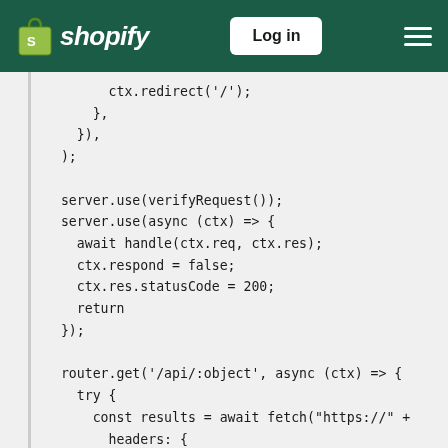shopify | Log in
[Figure (screenshot): Shopify documentation page header with green background, Shopify logo, Log in button, and hamburger menu]
ctx.redirect('/');
    },
  }),
);

server.use(verifyRequest());
server.use(async (ctx) => {
  await handle(ctx.req, ctx.res);
  ctx.respond = false;
  ctx.res.statusCode = 200;
  return
});

router.get('/api/:object', async (ctx) => {
  try {
    const results = await fetch("https://" +
      headers: {